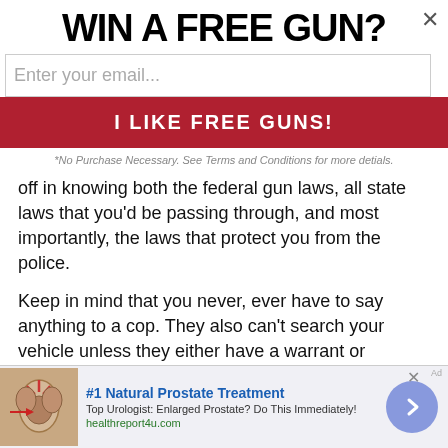WIN A FREE GUN?
Enter your email...
I LIKE FREE GUNS!
*No Purchase Necessary. See Terms and Conditions for more detials.
off in knowing both the federal gun laws, all state laws that you'd be passing through, and most importantly, the laws that protect you from the police.
Keep in mind that you never, ever have to say anything to a cop. They also can't search your vehicle unless they either have a warrant or probable cause.
"I respectfully decline to answer any of your questions officer, it is
[Figure (infographic): Bottom advertisement banner: anatomical illustration, '#1 Natural Prostate Treatment', 'Top Urologist: Enlarged Prostate? Do This Immediately!', 'healthreport4u.com', with arrow button and close X]
#1 Natural Prostate Treatment
Top Urologist: Enlarged Prostate? Do This Immediately!
healthreport4u.com